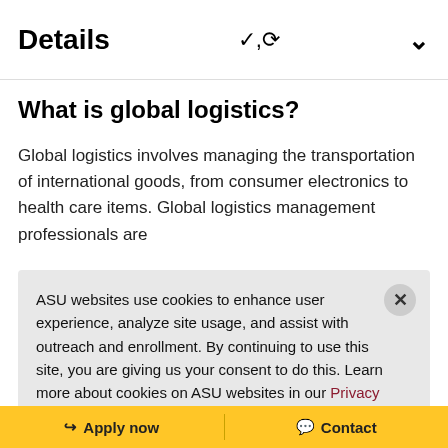Details
What is global logistics?
Global logistics involves managing the transportation of international goods, from consumer electronics to health care items. Global logistics management professionals are responsible for coordinating globally...
ASU websites use cookies to enhance user experience, analyze site usage, and assist with outreach and enrollment. By continuing to use this site, you are giving us your consent to do this. Learn more about cookies on ASU websites in our Privacy Statement.
Ok, I agree
Apply now   Contact